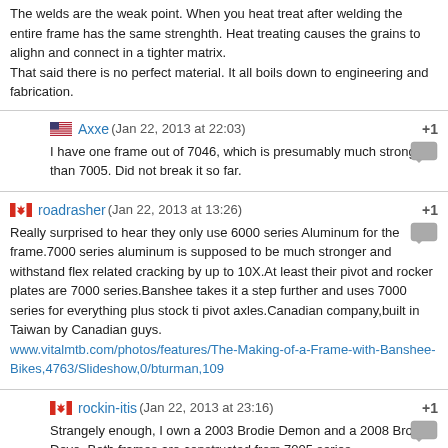The welds are the weak point. When you heat treat after welding the entire frame has the same strenghth. Heat treating causes the grains to alighn and connect in a tighter matrix. That said there is no perfect material. It all boils down to engineering and fabrication.
Axxe (Jan 22, 2013 at 22:03) I have one frame out of 7046, which is presumably much stronger than 7005. Did not break it so far.
roadrasher (Jan 22, 2013 at 13:26) Really surprised to hear they only use 6000 series Aluminum for the frame.7000 series aluminum is supposed to be much stronger and withstand flex related cracking by up to 10X.At least their pivot and rocker plates are 7000 series.Banshee takes it a step further and uses 7000 series for everything plus stock ti pivot axles.Canadian company,built in Taiwan by Canadian guys. www.vitalmtb.com/photos/features/The-Making-of-a-Frame-with-Banshee-Bikes,4763/Slideshow,0/bturman,109
rockin-itis (Jan 22, 2013 at 23:16) Strangely enough, I own a 2003 Brodie Demon and a 2008 Brodie Devo. Both frames are constructed from 7005 series